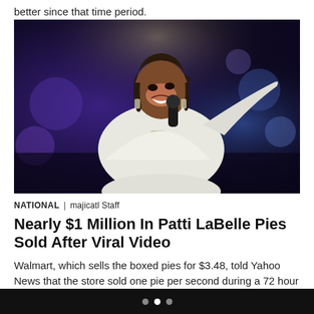better since that time period.
[Figure (photo): A woman in a white outfit singing into a microphone on a dark stage with purple/blue lighting, smiling and raising one hand.]
NATIONAL | majicatl Staff
Nearly $1 Million In Patti LaBelle Pies Sold After Viral Video
Walmart, which sells the boxed pies for $3.48, told Yahoo News that the store sold one pie per second during a 72 hour period over the weekend.